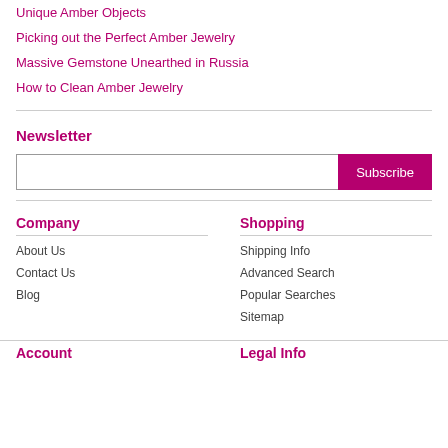Unique Amber Objects
Picking out the Perfect Amber Jewelry
Massive Gemstone Unearthed in Russia
How to Clean Amber Jewelry
Newsletter
Subscribe [input field + Subscribe button]
Company
About Us
Contact Us
Blog
Shopping
Shipping Info
Advanced Search
Popular Searches
Sitemap
Account
Legal Info